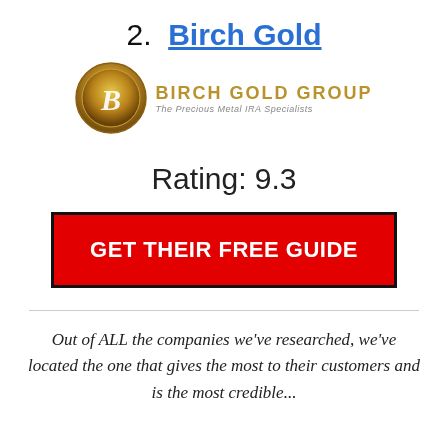2. Birch Gold
[Figure (logo): Birch Gold Group logo: circular gold coin with stylized B, beside text 'BIRCH GOLD GROUP' and tagline 'The Precious Metal IRA Specialists']
Rating: 9.3
GET THEIR FREE GUIDE
Out of ALL the companies we've researched, we've located the one that gives the most to their customers and is the most credible...